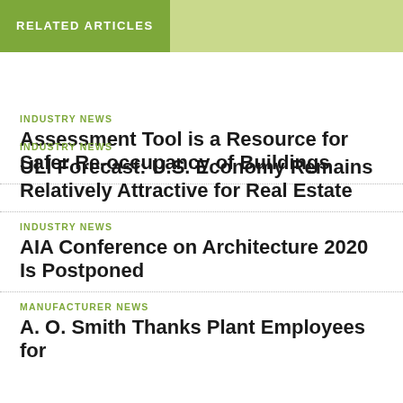RELATED ARTICLES
INDUSTRY NEWS
Assessment Tool is a Resource for Safer Re-occupancy of Buildings
INDUSTRY NEWS
ULI Forecast: U.S. Economy Remains Relatively Attractive for Real Estate
INDUSTRY NEWS
AIA Conference on Architecture 2020 Is Postponed
MANUFACTURER NEWS
A. O. Smith Thanks Plant Employees for